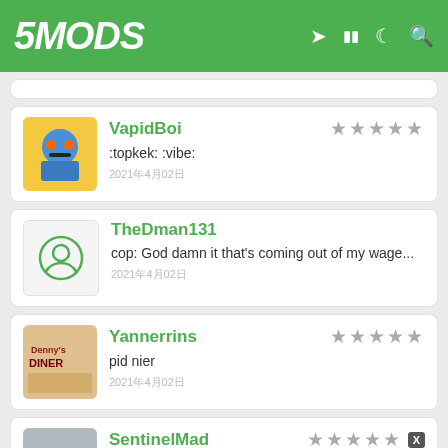5MODS
VapidBoi — :topkek: :vibe: — 2021年4月02日
TheDman131 — cop: God damn it that's coming out of my wage... — 2021年4月02日
Yannerrins — pid nier — 2021年4月02日
SentinelMad — "This is the LSPD! Pull over immediately!" — 2021年4月02日